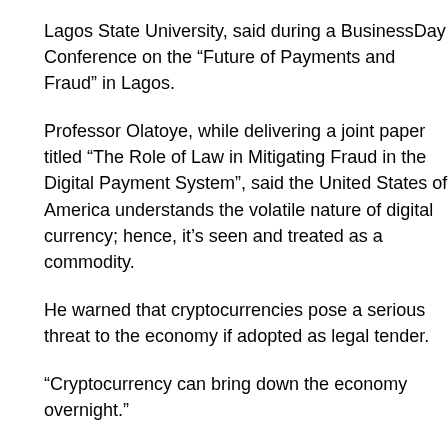Lagos State University, said during a BusinessDay Conference on the “Future of Payments and Fraud” in Lagos.
Professor Olatoye, while delivering a joint paper titled “The Role of Law in Mitigating Fraud in the Digital Payment System”, said the United States of America understands the volatile nature of digital currency; hence, it’s seen and treated as a commodity.
He warned that cryptocurrencies pose a serious threat to the economy if adopted as legal tender.
“Cryptocurrency can bring down the economy overnight.”
Professor Olatoye agrees that digital payment is the future of payment, however, highlights some of the vulnerabilities.